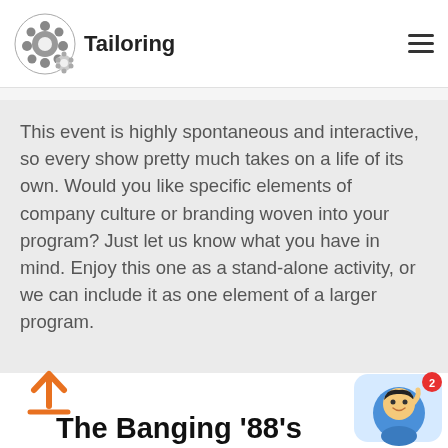Tailoring
This event is highly spontaneous and interactive, so every show pretty much takes on a life of its own. Would you like specific elements of company culture or branding woven into your program? Just let us know what you have in mind. Enjoy this one as a stand-alone activity, or we can include it as one element of a larger program.
[Figure (illustration): Upload / scroll-up arrow icon in orange]
The Banging '88's
[Figure (illustration): Cartoon character avatar with red notification badge showing '2']